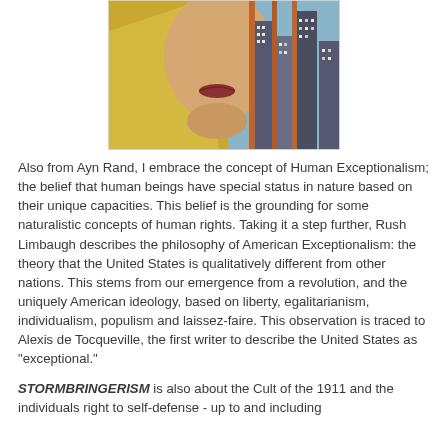[Figure (illustration): Art deco style illustration showing a woman's face in profile with city skyscrapers in the background, in yellow, blue, orange and grey tones.]
Also from Ayn Rand, I embrace the concept of Human Exceptionalism; the belief that human beings have special status in nature based on their unique capacities. This belief is the grounding for some naturalistic concepts of human rights. Taking it a step further, Rush Limbaugh describes the philosophy of American Exceptionalism: the theory that the United States is qualitatively different from other nations. This stems from our emergence from a revolution, and the uniquely American ideology, based on liberty, egalitarianism, individualism, populism and laissez-faire. This observation is traced to Alexis de Tocqueville, the first writer to describe the United States as "exceptional."
STORMBRINGERISM is also about the Cult of the 1911 and the individuals right to self-defense - up to and including